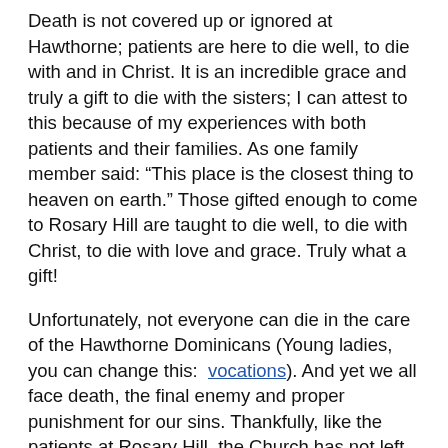Death is not covered up or ignored at Hawthorne; patients are here to die well, to die with and in Christ. It is an incredible grace and truly a gift to die with the sisters; I can attest to this because of my experiences with both patients and their families. As one family member said: “This place is the closest thing to heaven on earth.” Those gifted enough to come to Rosary Hill are taught to die well, to die with Christ, to die with love and grace. Truly what a gift!
Unfortunately, not everyone can die in the care of the Hawthorne Dominicans (Young ladies, you can change this: vocations). And yet we all face death, the final enemy and proper punishment for our sins. Thankfully, like the patients at Rosary Hill, the Church has not left us alone in this serious task of dying well; she gives us daily numerous ways of preparing well.  One way is to ask for a holy death every time we see a crucifix in our house (You don’t have one? Why not?) or Church. There are also excellent works dedicated to living well by thinking about dying well, both traditional (Dominican and Jesuit) as well as contemporary (written by a friend of mine). And of course we pray for such a holy death, through the intercession of Mary, at least fifty times a day in the rosary